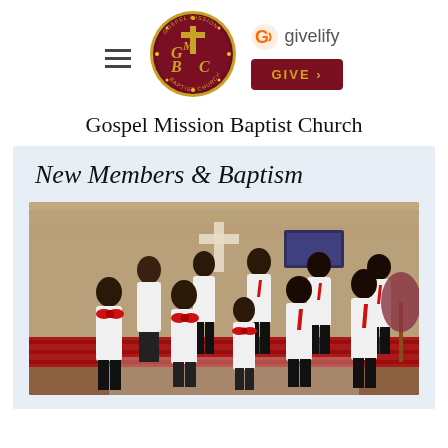[Figure (logo): Gospel Mission Baptist Church circular logo with gold letters GMBC and cross on dark red background with sparkle border]
[Figure (logo): Givelify logo with orange G icon and gray text, plus dark red GIVE button with gold arrow]
Gospel Mission Baptist Church
New Members & Baptism
[Figure (photo): Group photo of approximately 9 children and young people in a church sanctuary, wearing white shirts with red bow ties or red neckties and dark pants/skirts, standing in front of red church pews with a cross visible on the wall behind them]